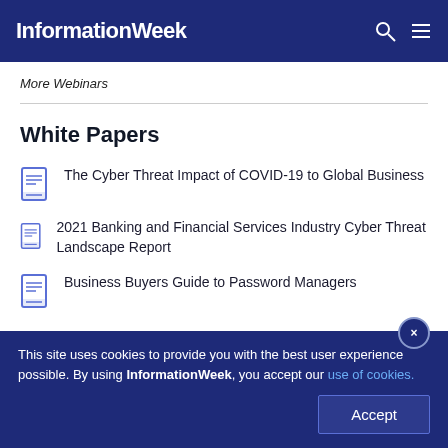InformationWeek
More Webinars
White Papers
The Cyber Threat Impact of COVID-19 to Global Business
2021 Banking and Financial Services Industry Cyber Threat Landscape Report
Business Buyers Guide to Password Managers
This site uses cookies to provide you with the best user experience possible. By using InformationWeek, you accept our use of cookies.